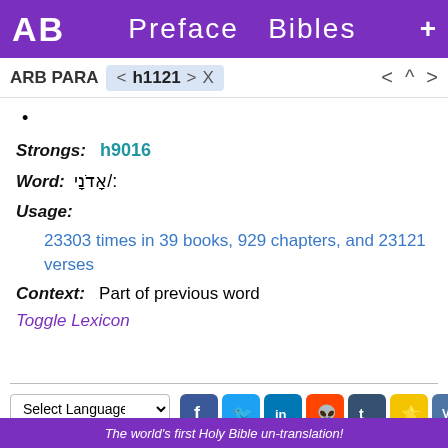AB  Preface  Bibles  +
ARB PARA  < h1121 > X    < ^ >
•
Strongs: h9016
Word: אָדֹנָי/:
Usage:
23303 times in 39 books, 929 chapters, and 23121 verses
Context: Part of previous word
Toggle Lexicon
The world's first Holy Bible un-translation!